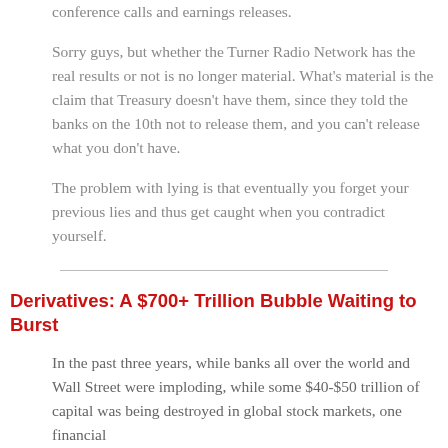conference calls and earnings releases.
Sorry guys, but whether the Turner Radio Network has the real results or not is no longer material. What's material is the claim that Treasury doesn't have them, since they told the banks on the 10th not to release them, and you can't release what you don't have.
The problem with lying is that eventually you forget your previous lies and thus get caught when you contradict yourself.
Derivatives: A $700+ Trillion Bubble Waiting to Burst
In the past three years, while banks all over the world and Wall Street were imploding, while some $40-$50 trillion of capital was being destroyed in global stock markets, one financial